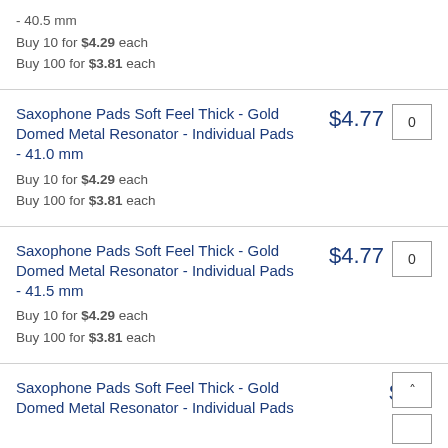- 40.5 mm
Buy 10 for $4.29 each
Buy 100 for $3.81 each
Saxophone Pads Soft Feel Thick - Gold Domed Metal Resonator - Individual Pads - 41.0 mm | $4.77 | Buy 10 for $4.29 each | Buy 100 for $3.81 each
Saxophone Pads Soft Feel Thick - Gold Domed Metal Resonator - Individual Pads - 41.5 mm | $4.77 | Buy 10 for $4.29 each | Buy 100 for $3.81 each
Saxophone Pads Soft Feel Thick - Gold Domed Metal Resonator - Individual Pads | $4.7...